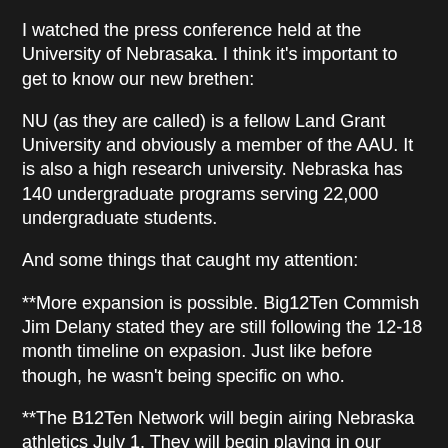I watched the press conference held at the University of Nebrasaka.  I think it's important to get to know our new brethen:
NU (as they are called) is a fellow Land Grant University and obviously a member of the AAU.  It is also a high research university.  Nebraska has 140 undergraduate programs serving 22,000 undergraduate students.
And some things that caught my attention:
**More expansion is possible.  Big12Ten Commish Jim Delany stated they are still following the 12-18 month timeline on expasion.  Just like before though, he wasn't being specific on who.
**The B12Ten Network will begin airing Nebraska athletics July 1.  They will begin playing in our conference July 2011.  Awesome!!!
**There is no idea as to if they are going to change the name